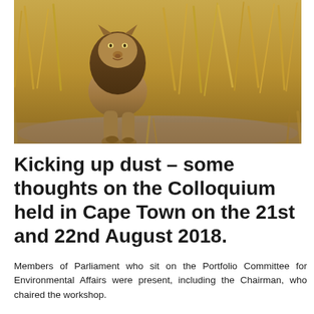[Figure (photo): A male lion standing in dry savanna grassland, facing the camera slightly to the left, with dry golden-brown grass in the background.]
Kicking up dust – some thoughts on the Colloquium held in Cape Town on the 21st and 22nd August 2018.
Members of Parliament who sit on the Portfolio Committee for Environmental Affairs were present, including the Chairman, who chaired the workshop.